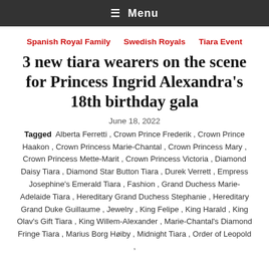≡ Menu
Spanish Royal Family
Swedish Royals
Tiara Event
3 new tiara wearers on the scene for Princess Ingrid Alexandra's 18th birthday gala
June 18, 2022
Tagged Alberta Ferretti , Crown Prince Frederik , Crown Prince Haakon , Crown Princess Marie-Chantal , Crown Princess Mary , Crown Princess Mette-Marit , Crown Princess Victoria , Diamond Daisy Tiara , Diamond Star Button Tiara , Durek Verrett , Empress Josephine's Emerald Tiara , Fashion , Grand Duchess Marie-Adelaide Tiara , Hereditary Grand Duchess Stephanie , Hereditary Grand Duke Guillaume , Jewelry , King Felipe , King Harald , King Olav's Gift Tiara , King Willem-Alexander , Marie-Chantal's Diamond Fringe Tiara , Marius Borg Høiby , Midnight Tiara , Order of Leopold ,